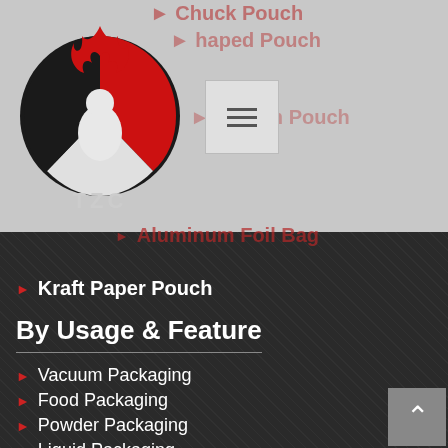[Figure (logo): TZC company logo: red and black circular emblem with flame and figure, text TZC below]
Aluminum Foil Bag
Kraft Paper Pouch
By Usage & Feature
Vacuum Packaging
Food Packaging
Powder Packaging
Liquid Packaging
Wet Wipes Packaging
Pesticide Packaging
Fruit Packaging
Toy Packaging